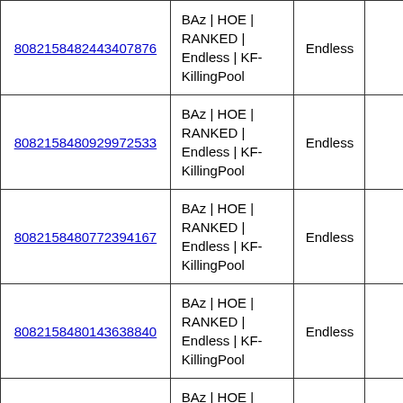| 808215848244340787​6 | BAz | HOE | RANKED | Endless | KF-KillingPool | Endless |  |
| 808215848092997253​3 | BAz | HOE | RANKED | Endless | KF-KillingPool | Endless |  |
| 808215848077239416​7 | BAz | HOE | RANKED | Endless | KF-KillingPool | Endless |  |
| 808215848014363884​0 | BAz | HOE | RANKED | Endless | KF-KillingPool | Endless |  |
| 808215844229930721​9 | BAz | HOE | RANKED | Endless | KF-KillingPool | Endless |  |
|  | BAz | HOE | |  |  |